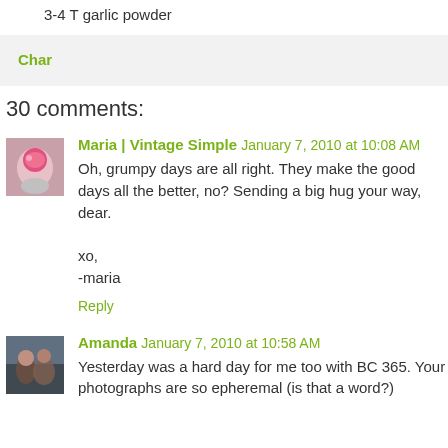3-4 T garlic powder
Char
30 comments:
Maria | Vintage Simple  January 7, 2010 at 10:08 AM
Oh, grumpy days are all right. They make the good days all the better, no? Sending a big hug your way, dear.

xo,
-maria
Reply
Amanda  January 7, 2010 at 10:58 AM
Yesterday was a hard day for me too with BC 365. Your photographs are so epheremal (is that a word?)